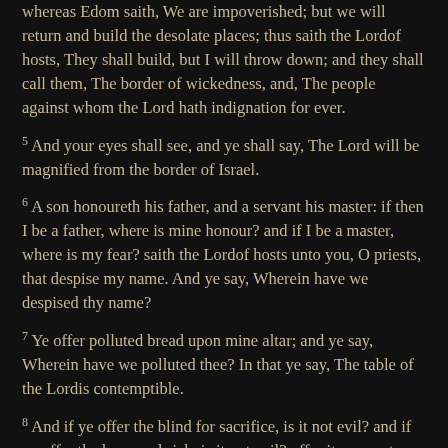whereas Edom saith, We are impoverished; but we will return and build the desolate places; thus saith the Lordof hosts, They shall build, but I will throw down; and they shall call them, The border of wickedness, and, The people against whom the Lord hath indignation for ever.
5 And your eyes shall see, and ye shall say, The Lord will be magnified from the border of Israel.
6 A son honoureth his father, and a servant his master: if then I be a father, where is mine honour? and if I be a master, where is my fear? saith the Lordof hosts unto you, O priests, that despise my name. And ye say, Wherein have we despised thy name?
7 Ye offer polluted bread upon mine altar; and ye say, Wherein have we polluted thee? In that ye say, The table of the Lordis contemptible.
8 And if ye offer the blind for sacrifice, is it not evil? and if ye offer the lame and sick, is it not evil? offer it now unto thy governor; will he be pleased with thee, or accept thy person? saith the Lord of hosts.
9 And now, I pray you, beseech God that he will be gracious unto us: